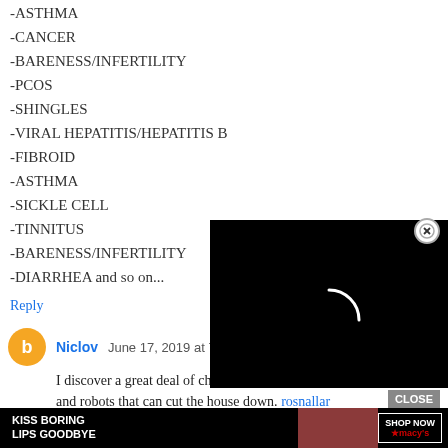-ASTHMA
-CANCER
-BARENESS/INFERTILITY
-PCOS
-SHINGLES
-VIRAL HEPATITIS/HEPATITIS B
-FIBROID
-ASTHMA
-SICKLE CELL
-TINNITUS
-BARENESS/INFERTILITY
-DIARRHEA and so on...
Reply
Niclov  June 17, 2019 at 7:02 A
I discover a great deal of children nowadays simply love firearms and robots that can cut the house down. rosnallar
Reply
[Figure (screenshot): Black video player overlay with loading spinner (white arc) and a close button (circled X) in the top right corner]
[Figure (screenshot): Advertisement banner: Kiss Boring Lips Goodbye - Shop Now - Macy's with CLOSE button]